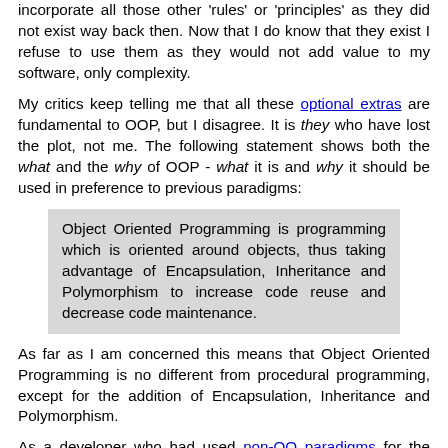incorporate all those other 'rules' or 'principles' as they did not exist way back then. Now that I do know that they exist I refuse to use them as they would not add value to my software, only complexity.
My critics keep telling me that all these optional extras are fundamental to OOP, but I disagree. It is they who have lost the plot, not me. The following statement shows both the what and the why of OOP - what it is and why it should be used in preference to previous paradigms:
Object Oriented Programming is programming which is oriented around objects, thus taking advantage of Encapsulation, Inheritance and Polymorphism to increase code reuse and decrease code maintenance.
As far as I am concerned this means that Object Oriented Programming is no different from procedural programming, except for the addition of Encapsulation, Inheritance and Polymorphism.
As a developer who had used non-OO paradigms for the previous two decades I expected to be able to develop similar applications with less effort because of the promise of more reuse, as someone would build this library